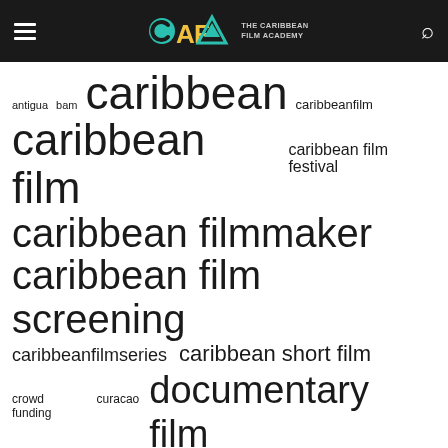[Figure (logo): CAFA - The Caribbean Film Academy logo with hamburger menu and search icon in dark header]
antigua  bam  caribbean  caribbeanfilm
caribbean film  caribbean film festival
caribbean filmmaker
caribbean film screening
caribbeanfilmseries  caribbean short film
crowd funding  curacao  documentary film
drkimjohnson  film  filmfest dc  film short
god loves the fighter  guetty felin  guyana  guyanese film  haiti
haitian film  jamaica  kickstarter  mariel brown
maya cozier  mighty sparrow  miquel galofre
my father's land  nadia charlery  pan music odyssey
quirky films  raoul peck  sean hodgkinson  seeyouyesterday